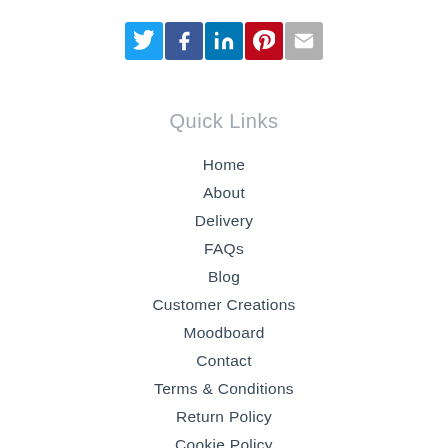[Figure (other): Row of social media icon buttons: Twitter (blue bird), Facebook (blue f), LinkedIn (blue in), Pinterest (red P), Email (grey envelope)]
Quick Links
Home
About
Delivery
FAQs
Blog
Customer Creations
Moodboard
Contact
Terms & Conditions
Return Policy
Cookie Policy
Privacy Policy
Blogger Network
Sitemap
Press Centre